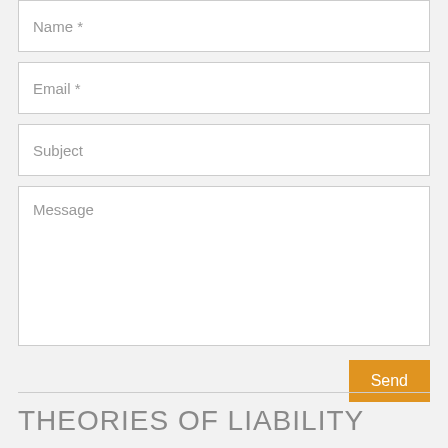Name *
Email *
Subject
Message
Send
THEORIES OF LIABILITY